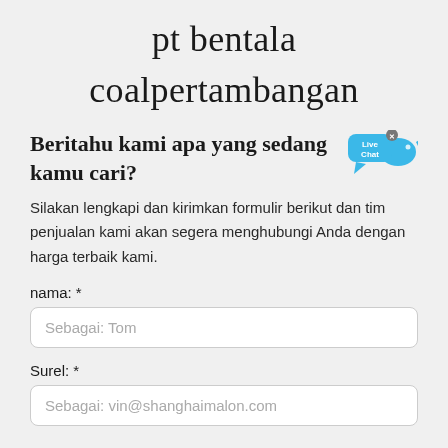pt bentala coalpertambangan
Beritahu kami apa yang sedang kamu cari?
Silakan lengkapi dan kirimkan formulir berikut dan tim penjualan kami akan segera menghubungi Anda dengan harga terbaik kami.
nama: *
Sebagai: Tom
Surel: *
Sebagai: vin@shanghaimalon.com